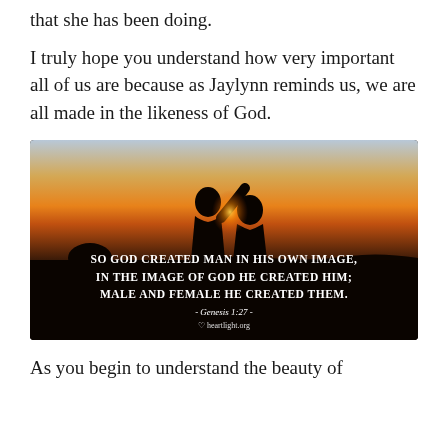that she has been doing.
I truly hope you understand how very important all of us are because as Jaylynn reminds us, we are all made in the likeness of God.
[Figure (photo): Silhouette of two people facing each other at sunset with a glow of light between them. Overlaid text reads: 'So God Created Man in His Own Image, In the Image of God He Created Him; Male and Female He Created Them. - Genesis 1:27 -' with heartlight.org watermark.]
As you begin to understand the beauty of